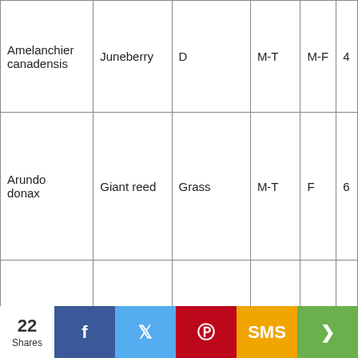| Amelanchier canadensis | Juneberry | D | M-T | M-F | 4 |
| Arundo donax | Giant reed | Grass | M-T | F | 6 |
|  |  |  |  |  |  |
22 Shares